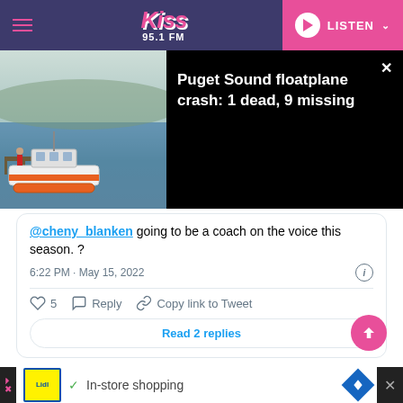Kiss 95.1 FM — LISTEN
[Figure (screenshot): Breaking news overlay: Coast Guard boat photo on water with dock, next to dark panel with headline 'Puget Sound floatplane crash: 1 dead, 9 missing' and X close button]
@chenyblanken going to be a coach on the voice this season. ?
6:22 PM · May 15, 2022
♡ 5   Reply   Copy link to Tweet
Read 2 replies
[Figure (screenshot): Advertisement bar: Lidl logo, checkmark, 'In-store shopping' text, navigation diamond icon, close X button]